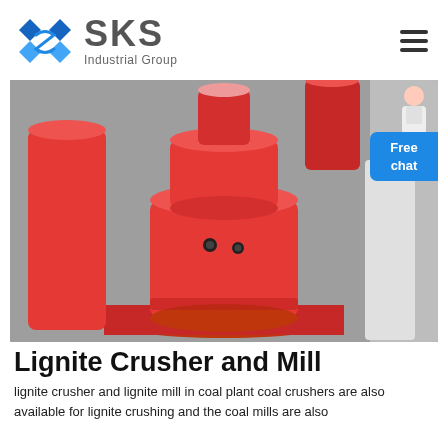SKS Industrial Group
[Figure (photo): Close-up photo of a red industrial lignite crusher/mill machine with cylindrical components and bolts, set against a grey background.]
Lignite Crusher and Mill
lignite crusher and lignite mill in coal plant coal crushers are also available for lignite crushing and the coal mills are also